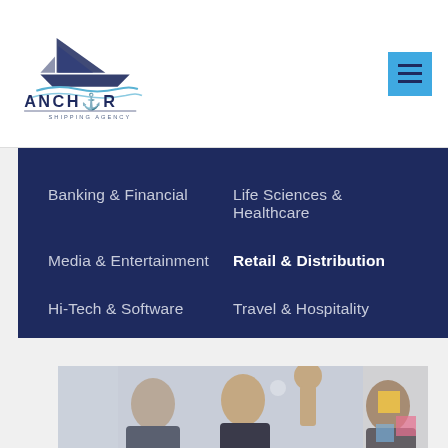[Figure (logo): Anchor Shipping Agency logo with stylized ship graphic and text ANCHOR SHIPPING AGENCY]
Banking & Financial
Life Sciences & Healthcare
Media & Entertainment
Retail & Distribution
Hi-Tech & Software
Travel & Hospitality
Overview
Emerging Verticals
[Figure (photo): Business people in suits high-fiving and celebrating in an office setting]